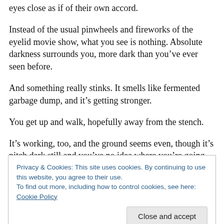eyes close as if of their own accord.
Instead of the usual pinwheels and fireworks of the eyelid movie show, what you see is nothing. Absolute darkness surrounds you, more dark than you’ve ever seen before.
And something really stinks. It smells like fermented garbage dump, and it’s getting stronger.
You get up and walk, hopefully away from the stench.
It’s working, too, and the ground seems even, though it’s pitch dark still and you’ve no idea where you’re going.
Privacy & Cookies: This site uses cookies. By continuing to use this website, you agree to their use.
To find out more, including how to control cookies, see here: Cookie Policy
Close and accept
The stench has lessened a great deal, though you don’t